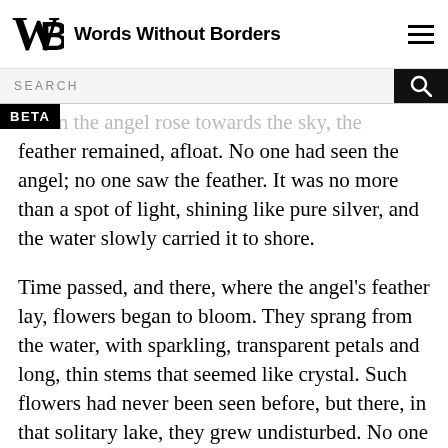Words Without Borders
SEARCH
BETA
When the angel rose towards the sky, the feather remained, afloat. No one had seen the angel; no one saw the feather. It was no more than a spot of light, shining like pure silver, and the water slowly carried it to shore.
Time passed, and there, where the angel's feather lay, flowers began to bloom. They sprang from the water, with sparkling, transparent petals and long, thin stems that seemed like crystal. Such flowers had never been seen before, but there, in that solitary lake, they grew undisturbed. No one had ever arrived, except for the angel who lost the